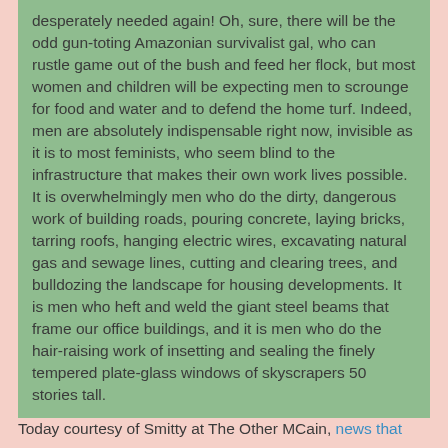desperately needed again! Oh, sure, there will be the odd gun-toting Amazonian survivalist gal, who can rustle game out of the bush and feed her flock, but most women and children will be expecting men to scrounge for food and water and to defend the home turf. Indeed, men are absolutely indispensable right now, invisible as it is to most feminists, who seem blind to the infrastructure that makes their own work lives possible. It is overwhelmingly men who do the dirty, dangerous work of building roads, pouring concrete, laying bricks, tarring roofs, hanging electric wires, excavating natural gas and sewage lines, cutting and clearing trees, and bulldozing the landscape for housing developments. It is men who heft and weld the giant steel beams that frame our office buildings, and it is men who do the hair-raising work of insetting and sealing the finely tempered plate-glass windows of skyscrapers 50 stories tall.
Today courtesy of Smitty at The Other MCain, news that